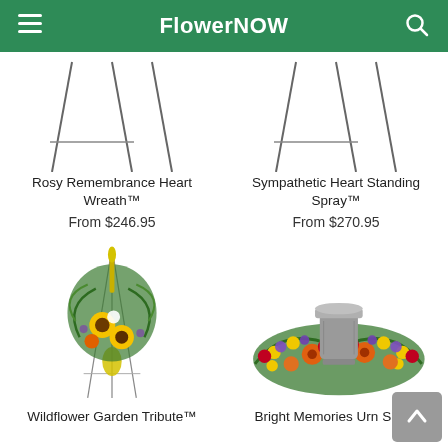FlowerNOW
[Figure (photo): Partial view of two floral arrangement products on easel stands — cropped at top]
Rosy Remembrance Heart Wreath™
From $246.95
Sympathetic Heart Standing Spray™
From $270.95
[Figure (photo): Wildflower Garden Tribute standing spray on easel with sunflowers, orange flowers, green foliage and yellow ribbon]
[Figure (photo): Bright Memories Urn Spray — colorful floral arrangement with roses, orange gerberas, yellow flowers, purple flowers surrounding a gray urn]
Wildflower Garden Tribute™
Bright Memories Urn Spray